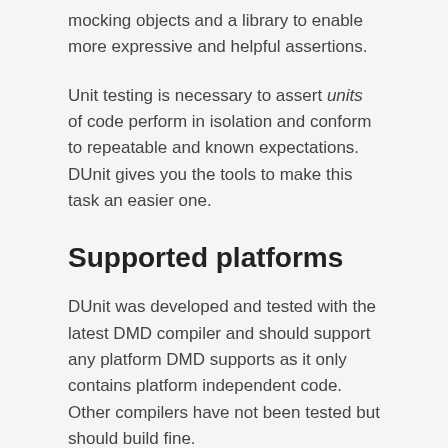mocking objects and a library to enable more expressive and helpful assertions.
Unit testing is necessary to assert units of code perform in isolation and conform to repeatable and known expectations. DUnit gives you the tools to make this task an easier one.
Supported platforms
DUnit was developed and tested with the latest DMD compiler and should support any platform DMD supports as it only contains platform independent code. Other compilers have not been tested but should build fine.
Features